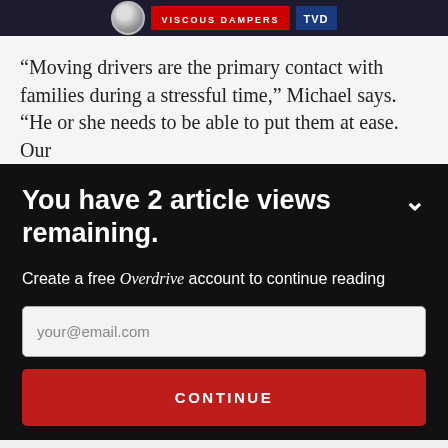[Figure (photo): Banner image showing a viscous damper product with 'VISCOUS DAMPERS' text on a dark background]
“Moving drivers are the primary contact with families during a stressful time,” Michael says. “He or she needs to be able to put them at ease. Our
You have 2 article views remaining.
Create a free Overdrive account to continue reading
your@email.com
CONTINUE